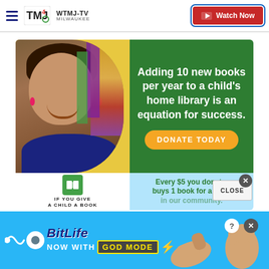WTMJ-TV MILWAUKEE | Watch Now
[Figure (photo): Advertisement for 'If You Give a Child a Book' charity. Left side shows a smiling young girl with curly hair and pink earrings in a library setting. Right green panel reads: 'Adding 10 new books per year to a child's home library is an equation for success.' with an orange 'DONATE TODAY' button. Bottom white section shows book icon and org name. Bottom blue section reads: 'Every $5 you donate, buys 1 book for a child in our community.']
IF YOU GIVE A CHILD A BOOK
Adding 10 new books per year to a child's home library is an equation for success.
DONATE TODAY
Every $5 you donate, buys 1 book for a child in our community.
[Figure (screenshot): BitLife mobile game advertisement banner: blue background with BitLife logo, 'NOW WITH GOD MODE' text in styled box with lightning bolt, cartoon hands pointing.]